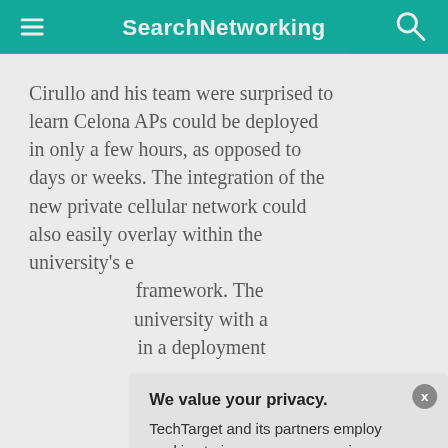SearchNetworking
Cirullo and his team were surprised to learn Celona APs could be deployed in only a few hours, as opposed to days or weeks. The integration of the new private cellular network could also easily overlay within the university's e... framework. The ... university with a... in a deployment...
Part of: The use c... networks... Article 4 of 5
Up N... Integ... into p...
We value your privacy.
TechTarget and its partners employ cookies to improve your experience on our site, to analyze traffic and performance, and to serve personalized content and advertising that are relevant to your professional interests. You can manage your settings at any time. Please view our Privacy Policy for more information